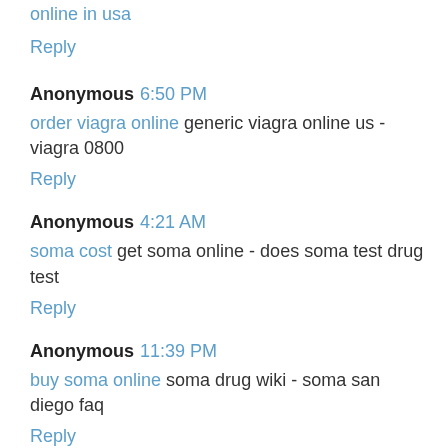online in usa
Reply
Anonymous 6:50 PM
order viagra online generic viagra online us - viagra 0800
Reply
Anonymous 4:21 AM
soma cost get soma online - does soma test drug test
Reply
Anonymous 11:39 PM
buy soma online soma drug wiki - soma san diego faq
Reply
Anonymous 5:28 PM